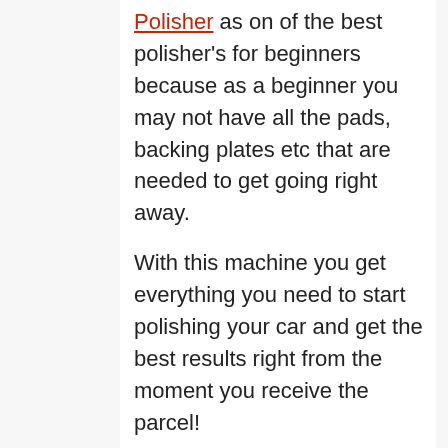Polisher as on of the best polisher's for beginners because as a beginner you may not have all the pads, backing plates etc that are needed to get going right away.
With this machine you get everything you need to start polishing your car and get the best results right from the moment you receive the parcel!
It is a strong, robust machine with a wonderful design. It can be used with the handles provided or with the ergonomic design head. It is also a really nice size, measuring just 16.5 inches as you can see and compare to a wheel in the picture below.